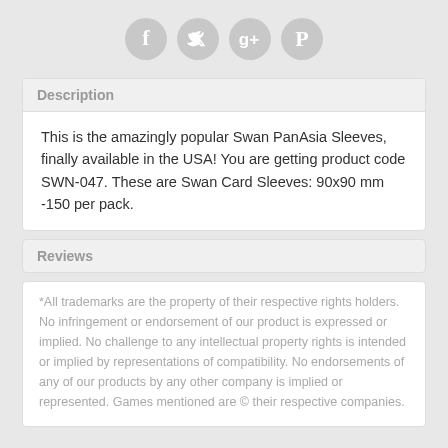[Figure (other): Four social media icons: Facebook, Twitter, Google+, Pinterest — grey circles with white symbols]
Description
This is the amazingly popular Swan PanAsia Sleeves, finally available in the USA! You are getting product code SWN-047. These are Swan Card Sleeves: 90x90 mm -150 per pack.
Reviews
*All trademarks are the property of their respective rights holders. No infringement or endorsement of our product is expressed or implied. No challenge to any intellectual property rights is intended or implied by representations of compatibility. No endorsements of any of our products by any other company is implied or represented. Games mentioned are © their respective companies.